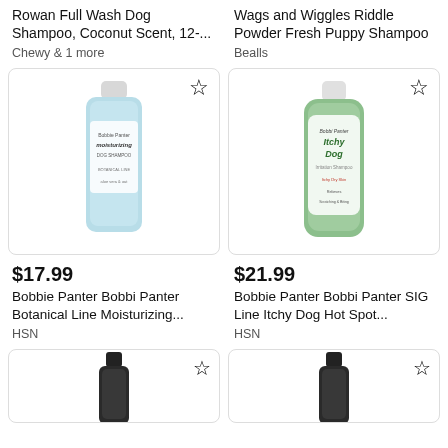Rowan Full Wash Dog Shampoo, Coconut Scent, 12-...
Chewy & 1 more
Wags and Wiggles Riddle Powder Fresh Puppy Shampoo
Bealls
[Figure (photo): Bobbie Panter Bobbi Panter Botanical Line Moisturizing dog shampoo bottle, light blue with white cap]
[Figure (photo): Bobbie Panter Bobbi Panter SIG Line Itchy Dog Hot Spot shampoo bottle, green with white cap and illustrated label]
$17.99
Bobbie Panter Bobbi Panter Botanical Line Moisturizing...
HSN
$21.99
Bobbie Panter Bobbi Panter SIG Line Itchy Dog Hot Spot...
HSN
[Figure (photo): Partial view of a dark bottle, bottom cut off]
[Figure (photo): Partial view of a dark bottle, bottom cut off]